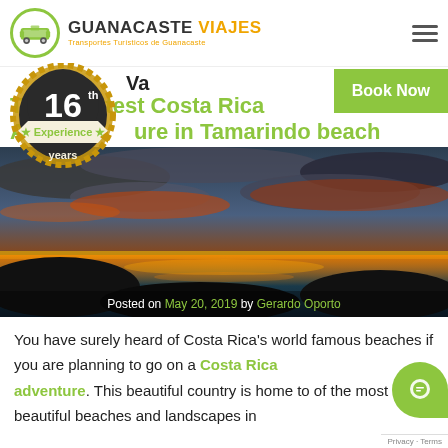GUANACASTE VIAJES — Transportes Turísticos de Guanacaste
Vacation — The Greatest Costa Rica Adventure in Tamarindo beach
[Figure (photo): Dramatic sunset over Tamarindo beach, Costa Rica, with orange and red clouds reflected in the water]
Posted on May 20, 2019 by Gerardo Oporto
You have surely heard of Costa Rica's world famous beaches if you are planning to go on a Costa Rica adventure. This beautiful country is home to of the most beautiful beaches and landscapes in